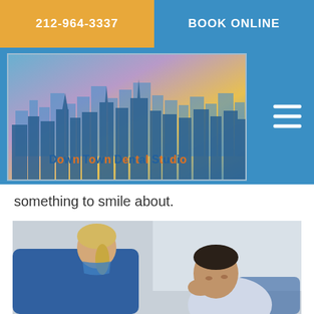212-964-3337
BOOK ONLINE
[Figure (logo): Down Town Dental Studio logo with NYC skyline silhouette against a colorful gradient background]
something to smile about.
[Figure (photo): A female dental professional in blue scrubs with a face mask, consulting with a male patient who is seated in a dental chair and holding his cheek/jaw area]